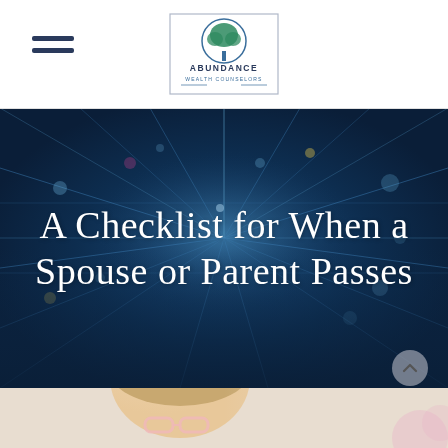Abundance Wealth Counselors — navigation header with logo
[Figure (illustration): Dark blue tech/perspective tunnel background with glowing lines converging to a vanishing point, overlaid with semi-transparent dark blue tint]
A Checklist for When a Spouse or Parent Passes
[Figure (photo): Partial photo of a woman with glasses looking downward, visible from forehead to mid-face, light background]